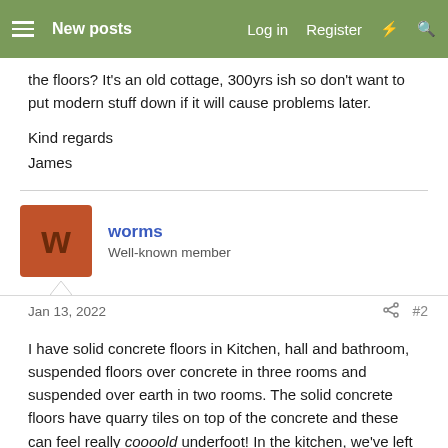New posts  Log in  Register
the floors? It's an old cottage, 300yrs ish so don't want to put modern stuff down if it will cause problems later.

Kind regards
James
worms
Well-known member
Jan 13, 2022  #2
I have solid concrete floors in Kitchen, hall and bathroom, suspended floors over concrete in three rooms and suspended over earth in two rooms. The solid concrete floors have quarry tiles on top of the concrete and these can feel really coooold underfoot! In the kitchen, we've left the quarry tiles exposed. In the hall we covered the quarry tiles with underlay and carpet. In the bathroom we used a cheap cushionfloor-type vinyl. Both the carpet and the vinyl